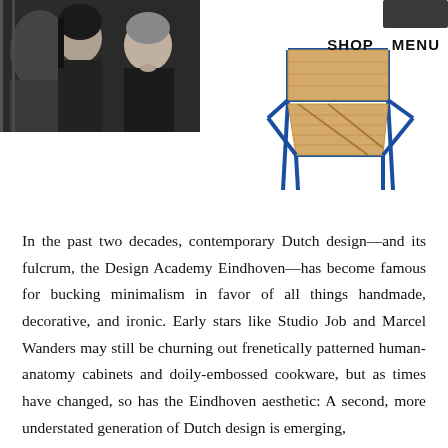[Figure (photo): Black and white photograph of two people, a woman and a man, wearing dark clothing]
[Figure (photo): Product photo of a lounge chair with blue metal frame and tan/natural woven seat and back]
SHOP   MENU
In the past two decades, contemporary Dutch design—and its fulcrum, the Design Academy Eindhoven—has become famous for bucking minimalism in favor of all things handmade, decorative, and ironic. Early stars like Studio Job and Marcel Wanders may still be churning out frenetically patterned human-anatomy cabinets and doily-embossed cookware, but as times have changed, so has the Eindhoven aesthetic: A second, more understated generation of Dutch design is emerging,